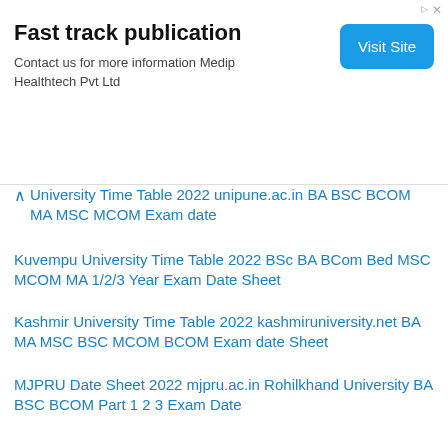[Figure (other): Advertisement banner: Fast track publication. Contact us for more information Medip Healthtech Pvt Ltd. Visit Site button.]
University Time Table 2022 unipune.ac.in BA BSC BCOM MA MSC MCOM Exam date
Kuvempu University Time Table 2022 BSc BA BCom Bed MSC MCOM MA 1/2/3 Year Exam Date Sheet
Kashmir University Time Table 2022 kashmiruniversity.net BA MA MSC BSC MCOM BCOM Exam date Sheet
MJPRU Date Sheet 2022 mjpru.ac.in Rohilkhand University BA BSC BCOM Part 1 2 3 Exam Date